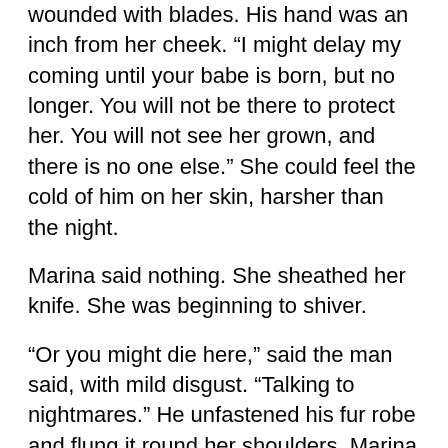wounded with blades. His hand was an inch from her cheek. “I might delay my coming until your babe is born, but no longer. You will not be there to protect her. You will not see her grown, and there is no one else.” She could feel the cold of him on her skin, harsher than the night.
Marina said nothing. She sheathed her knife. She was beginning to shiver.
“Or you might die here,” said the man said, with mild disgust. “Talking to nightmares.” He unfastened his fur robe and flung it round her shoulders. Marina nerved herself, but he did not touch her. The heavy fur was dry despite the torrent.